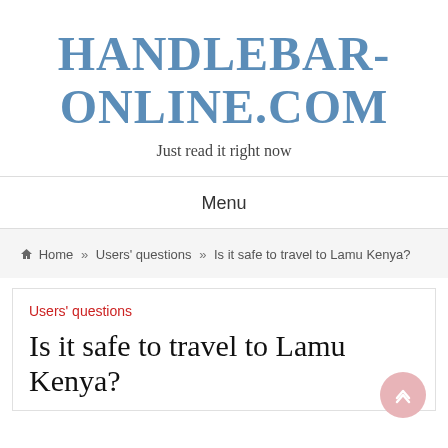HANDLEBAR-ONLINE.COM
Just read it right now
Menu
🏠 Home » Users' questions » Is it safe to travel to Lamu Kenya?
Users' questions
Is it safe to travel to Lamu Kenya?